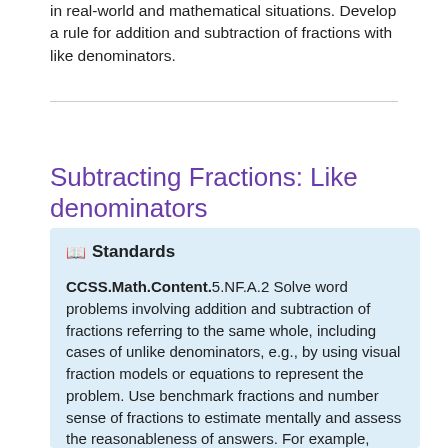in real-world and mathematical situations. Develop a rule for addition and subtraction of fractions with like denominators.
Subtracting Fractions: Like denominators
📖 Standards
CCSS.Math.Content.5.NF.A.2 Solve word problems involving addition and subtraction of fractions referring to the same whole, including cases of unlike denominators, e.g., by using visual fraction models or equations to represent the problem. Use benchmark fractions and number sense of fractions to estimate mentally and assess the reasonableness of answers. For example, recognize an incorrect result 2/5 + 1/2 = 3/7, by observing that 3/7 < 1/2.